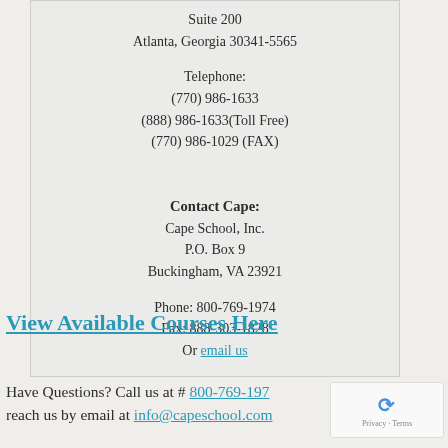Suite 200
Atlanta, Georgia 30341-5565

Telephone:
(770) 986-1633
(888) 986-1633(Toll Free)
(770) 986-1029 (FAX)
Contact Cape:
Cape School, Inc.
P.O. Box 9
Buckingham, VA 23921

Phone: 800-769-1974
Fax: 888-303-1828
Or email us
View Available Courses Here
Have Questions? Call us at # 800-769-197…
reach us by email at info@capeschool.com